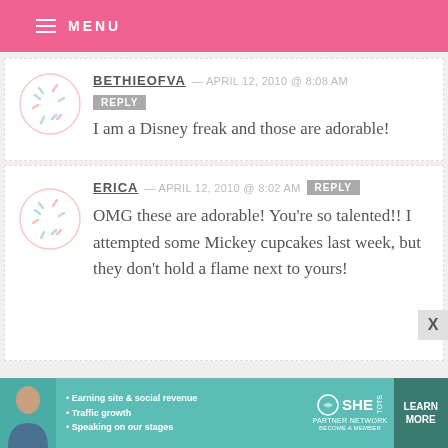MENU
BETHIEOFVA — APRIL 12, 2010 @ 8:08 AM
REPLY
I am a Disney freak and those are adorable!
ERICA — APRIL 12, 2010 @ 8:02 AM
REPLY
OMG these are adorable! You're so talented!! I attempted some Mickey cupcakes last week, but they don't hold a flame next to yours!
[Figure (infographic): Ad banner for SHE Partner Network with bullet points: Earning site & social revenue, Traffic growth, Speaking on our stages. LEARN MORE button.]